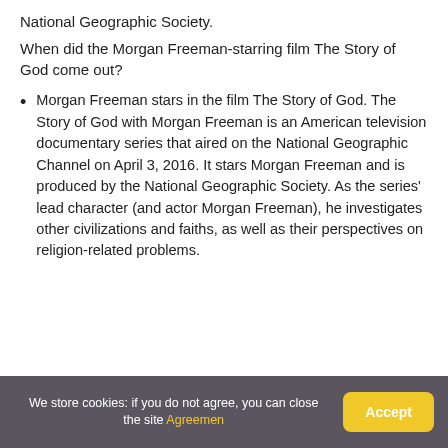National Geographic Society.
When did the Morgan Freeman-starring film The Story of God come out?
Morgan Freeman stars in the film The Story of God. The Story of God with Morgan Freeman is an American television documentary series that aired on the National Geographic Channel on April 3, 2016. It stars Morgan Freeman and is produced by the National Geographic Society. As the series' lead character (and actor Morgan Freeman), he investigates other civilizations and faiths, as well as their perspectives on religion-related problems.
We store cookies: if you do not agree, you can close the site Agreement | Accept